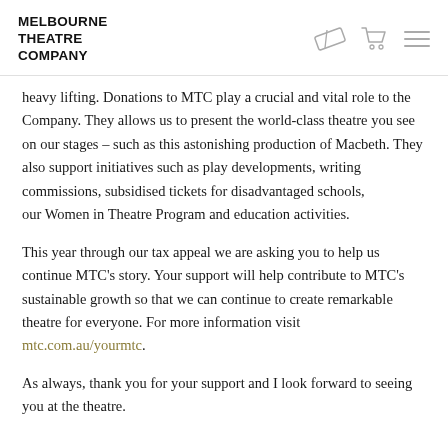MELBOURNE THEATRE COMPANY
heavy lifting. Donations to MTC play a crucial and vital role to the Company. They allows us to present the world-class theatre you see on our stages – such as this astonishing production of Macbeth. They also support initiatives such as play developments, writing commissions, subsidised tickets for disadvantaged schools, our Women in Theatre Program and education activities.
This year through our tax appeal we are asking you to help us continue MTC's story. Your support will help contribute to MTC's sustainable growth so that we can continue to create remarkable theatre for everyone. For more information visit mtc.com.au/yourmtc.
As always, thank you for your support and I look forward to seeing you at the theatre.